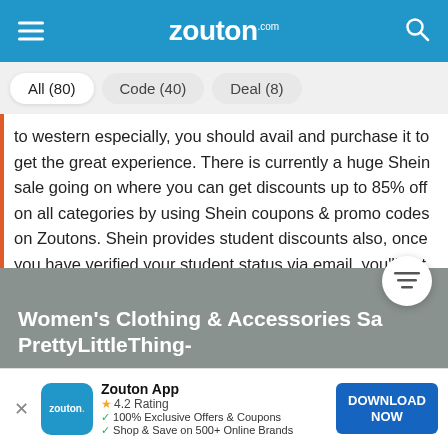zouton.com
All (80)  Code (40)  Deal (8)
to western especially, you should avail and purchase it to get the great experience. There is currently a huge Shein sale going on where you can get discounts up to 85% off on all categories by using Shein coupons & promo codes on Zoutons. Shein provides student discounts also, once you have verified your student status via email, you'll get a discount code to save an extra 15% on your order. Buy the new and trendy fashion clothing and enjoy a 15% discount.
Women's Clothing & Accessories Sa... PrettyLittleThing-
Zouton App
4.2 Rating
100% Exclusive Offers & Coupons
Shop & Save on 500+ Online Brands